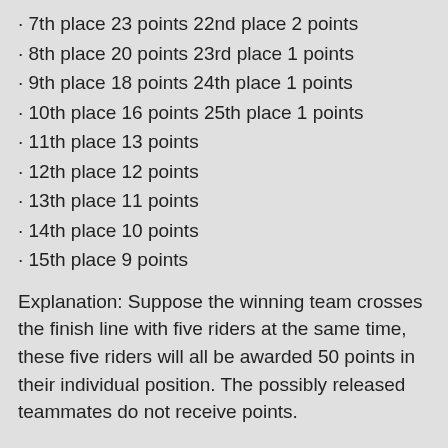7th place 23 points 22nd place 2 points
8th place 20 points 23rd place 1 points
9th place 18 points 24th place 1 points
10th place 16 points 25th place 1 points
11th place 13 points
12th place 12 points
13th place 11 points
14th place 10 points
15th place 9 points
Explanation: Suppose the winning team crosses the finish line with five riders at the same time, these five riders will all be awarded 50 points in their individual position. The possibly released teammates do not receive points.
25 | Point count
All riders (regardless of nationality) of participating teams in the Top Competition Competitions count in the various